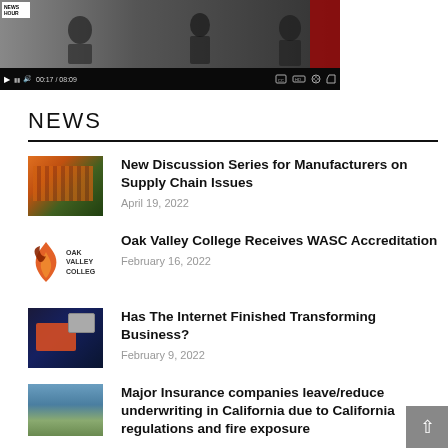[Figure (screenshot): Video player showing a news segment. Controls bar at bottom with play button, volume, time stamp '00:17 / 08:09', and icons for captions, quality, settings, fullscreen.]
NEWS
New Discussion Series for Manufacturers on Supply Chain Issues — April 19, 2022
Oak Valley College Receives WASC Accreditation — February 16, 2022
Has The Internet Finished Transforming Business? — February 9, 2022
Major Insurance companies leave/reduce underwriting in California due to California regulations and fire exposure